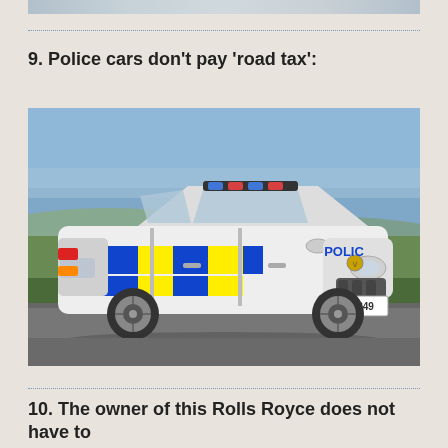9. Police cars don’t pay ‘road tax’:
[Figure (photo): A white police estate car (Vauxhall Insignia) with blue and yellow checkered Battenburg markings on the side, light bar on roof, and 'POLICE' written on the door. License plate reads TWV 849. The car is photographed on a road with a countryside landscape in the background under a blue sky.]
10. The owner of this Rolls Royce does not have to